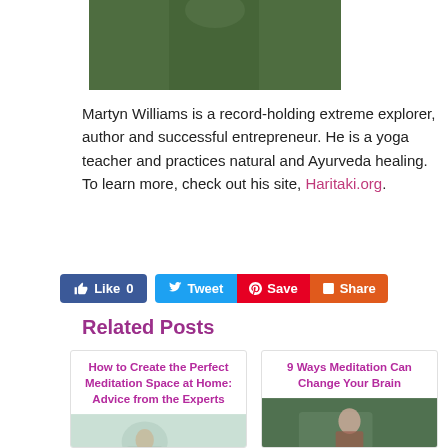[Figure (photo): Partial photo of a person outdoors, cropped at top]
Martyn Williams is a record-holding extreme explorer, author and successful entrepreneur. He is a yoga teacher and practices natural and Ayurveda healing. To learn more, check out his site, Haritaki.org.
[Figure (infographic): Social sharing buttons: Like 0, Tweet, Save, Share]
Related Posts
How to Create the Perfect Meditation Space at Home: Advice from the Experts
[Figure (photo): Photo related to meditation space at home]
9 Ways Meditation Can Change Your Brain
[Figure (photo): Photo of a person meditating outdoors near water]